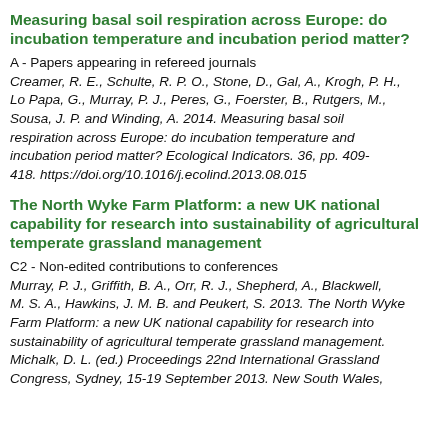Measuring basal soil respiration across Europe: do incubation temperature and incubation period matter?
A - Papers appearing in refereed journals
Creamer, R. E., Schulte, R. P. O., Stone, D., Gal, A., Krogh, P. H., Lo Papa, G., Murray, P. J., Peres, G., Foerster, B., Rutgers, M., Sousa, J. P. and Winding, A. 2014. Measuring basal soil respiration across Europe: do incubation temperature and incubation period matter? Ecological Indicators. 36, pp. 409-418. https://doi.org/10.1016/j.ecolind.2013.08.015
The North Wyke Farm Platform: a new UK national capability for research into sustainability of agricultural temperate grassland management
C2 - Non-edited contributions to conferences
Murray, P. J., Griffith, B. A., Orr, R. J., Shepherd, A., Blackwell, M. S. A., Hawkins, J. M. B. and Peukert, S. 2013. The North Wyke Farm Platform: a new UK national capability for research into sustainability of agricultural temperate grassland management. Michalk, D. L. (ed.) Proceedings 22nd International Grassland Congress, Sydney, 15-19 September 2013. New South Wales,